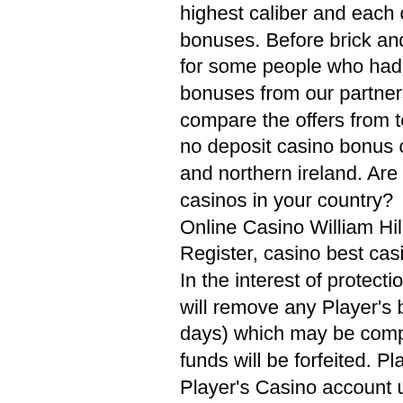highest caliber and each casino bonus is. Best online casino bonuses. Before brick and mortar casino games were an addiction for some people who had enough money to spend on it. Get casino bonuses from our partners, with huge deposit rewards. Plus, compare the offers from top casinos. Sign up and play now. Top ten no deposit casino bonus codes for united kingdom of great britain and northern ireland. Are you looking for the best no deposit casinos in your country?
Online Casino William Hill Canada Register MrGreen Canada Register, casino best casino bonuses.
In the interest of protection of Player's funds, Yukon Gold Casino will remove any Player's balances (within a maximum of up to 60 days) which may be comprised of bonus and cash money. Bonus funds will be forfeited. Player's cash balance can be returned to the Player's Casino account upon request within